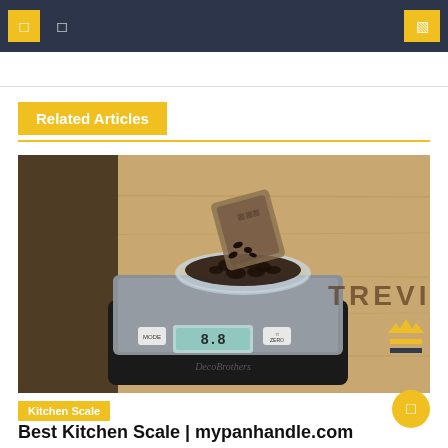Navigation bar with menu icons and search icon
Related Articles
[Figure (photo): A digital kitchen scale (DecoBrothers brand) with a glass bowl of coffee beans being poured into it, placed on a wooden surface with 'TREVILÉ' text partially visible. A coffee grinder is on the left side.]
Kitchen Scale
Best Kitchen Scale | mypanhandle.com